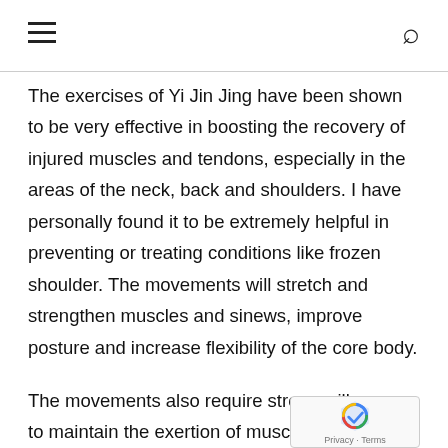The exercises of Yi Jin Jing have been shown to be very effective in boosting the recovery of injured muscles and tendons, especially in the areas of the neck, back and shoulders. I have personally found it to be extremely helpful in preventing or treating conditions like frozen shoulder. The movements will stretch and strengthen muscles and sinews, improve posture and increase flexibility of the core body.
The movements also require strong will power to maintain the exertion of muscular strength, th...